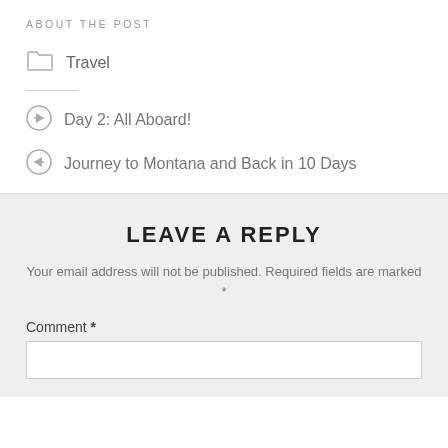ABOUT THE POST
Travel
Day 2: All Aboard!
Journey to Montana and Back in 10 Days
LEAVE A REPLY
Your email address will not be published. Required fields are marked *
Comment *